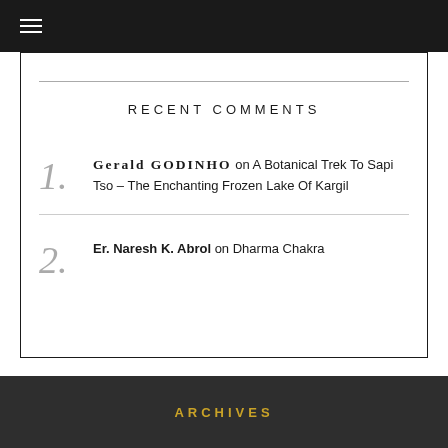≡ (hamburger menu icon)
RECENT COMMENTS
1. Gerald GODINHO on A Botanical Trek To Sapi Tso – The Enchanting Frozen Lake Of Kargil
2. Er. Naresh K. Abrol on Dharma Chakra
ARCHIVES